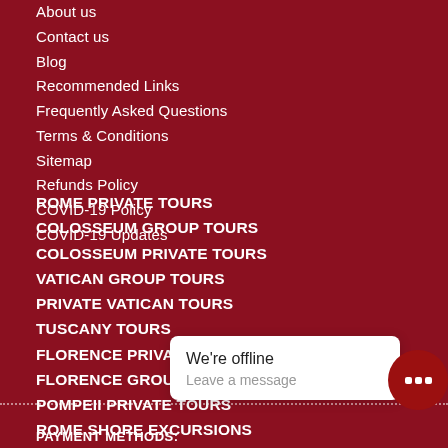About us
Contact us
Blog
Recommended Links
Frequently Asked Questions
Terms & Conditions
Sitemap
Refunds Policy
COVID-19 Policy
COVID-19 Updates
ROME PRIVATE TOURS
COLOSSEUM GROUP TOURS
COLOSSEUM PRIVATE TOURS
VATICAN GROUP TOURS
PRIVATE VATICAN TOURS
TUSCANY TOURS
FLORENCE PRIVATE TOURS
FLORENCE GROUP TOURS
POMPEII PRIVATE TOURS
ROME SHORE EXCURSIONS
DAY TRIPS FROM ROME
BARCELONA TOURS
PARIS TOURS
PAYMENT METHODS:
We're offline
Leave a message